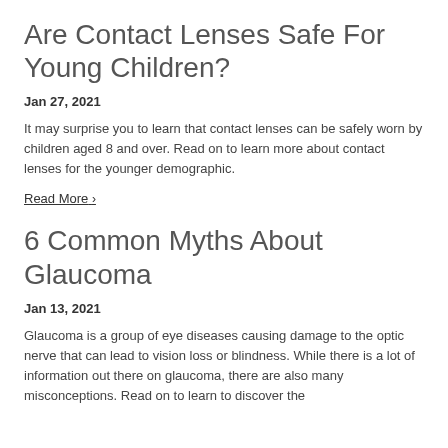Are Contact Lenses Safe For Young Children?
Jan 27, 2021
It may surprise you to learn that contact lenses can be safely worn by children aged 8 and over. Read on to learn more about contact lenses for the younger demographic.
Read More ›
6 Common Myths About Glaucoma
Jan 13, 2021
Glaucoma is a group of eye diseases causing damage to the optic nerve that can lead to vision loss or blindness. While there is a lot of information out there on glaucoma, there are also many misconceptions. Read on to learn to discover the